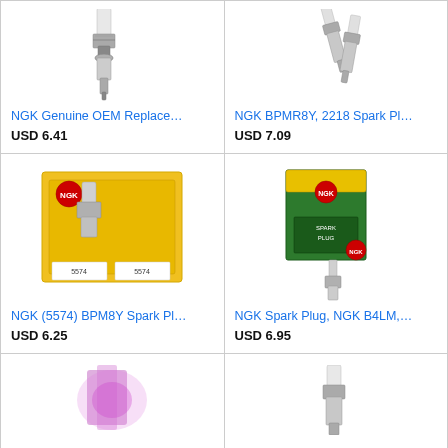[Figure (photo): NGK spark plug product photo - single spark plug on white background]
NGK Genuine OEM Replace…
USD 6.41
[Figure (photo): NGK BPMR8Y spark plugs product photo - two spark plugs on white background]
NGK BPMR8Y, 2218 Spark Pl…
USD 7.09
[Figure (photo): NGK (5574) BPM8Y spark plug in yellow packaging box]
NGK (5574) BPM8Y Spark Pl…
USD 6.25
[Figure (photo): NGK Spark Plug B4LM with green and yellow NGK packaging box]
NGK Spark Plug, NGK B4LM,…
USD 6.95
[Figure (photo): Spark plug with pink/purple glow, partial view at bottom of page]
[Figure (photo): Silver spark plug on white background, partial view at bottom of page]